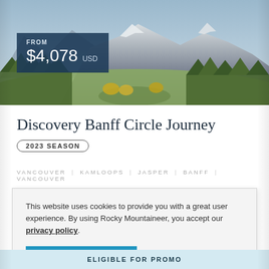[Figure (photo): Mountain landscape with rocky peaks, evergreen trees, and a valley, serving as the hero background image for the Rocky Mountaineer tour page.]
FROM $4,078 USD
Discovery Banff Circle Journey
2023 SEASON
VANCOUVER | KAMLOOPS | JASPER | BANFF | VANCOUVER
This website uses cookies to provide you with a great user experience. By using Rocky Mountaineer, you accept our privacy policy.
OKAY
ELIGIBLE FOR PROMO